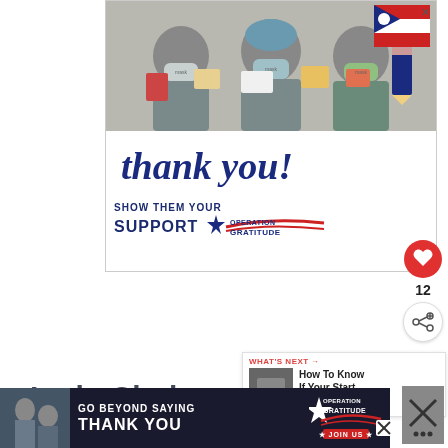[Figure (photo): Advertisement banner for Operation Gratitude showing three healthcare workers in masks and scrubs holding thank-you cards, with 'thank you!' cursive text and 'SHOW THEM YOUR SUPPORT' and Operation Gratitude logo]
12
Lyriq Choices, Competitors, and
[Figure (photo): Bottom advertisement banner for Operation Gratitude showing 'GO BEYOND SAYING THANK YOU' text with Operation Gratitude logo and JOIN US button]